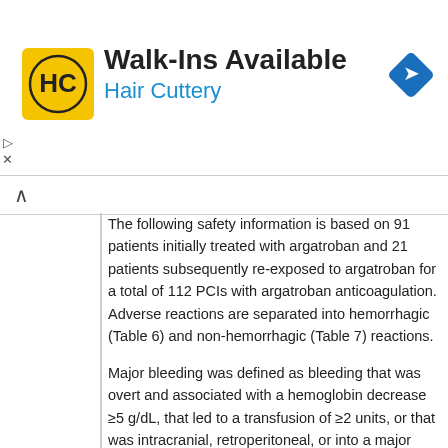[Figure (other): Hair Cuttery advertisement banner with logo, 'Walk-Ins Available' text, and navigation icon]
The following safety information is based on 91 patients initially treated with argatroban and 21 patients subsequently re-exposed to argatroban for a total of 112 PCIs with argatroban anticoagulation. Adverse reactions are separated into hemorrhagic (Table 6) and non-hemorrhagic (Table 7) reactions.
Major bleeding was defined as bleeding that was overt and associated with a hemoglobin decrease ≥5 g/dL, that led to a transfusion of ≥2 units, or that was intracranial, retroperitoneal, or into a major prosthetic joint. The rate of major bleeding events in patients treated with argatroban in the PCI trials was 1.8%.